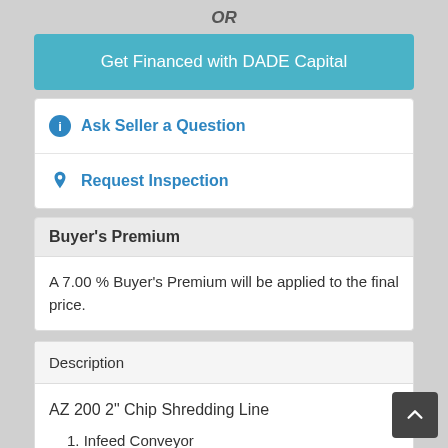OR
Get Financed with DADE Capital
ℹ Ask Seller a Question
📍 Request Inspection
Buyer's Premium
A 7.00 % Buyer's Premium will be applied to the final price.
Description
AZ 200 2" Chip Shredding Line
1. Infeed Conveyor
48" wide rail to rail